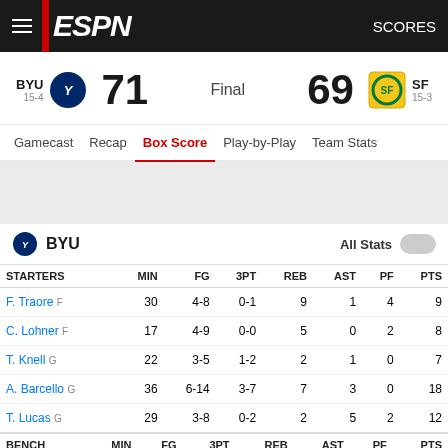ESPN SCORES
BYU 15-4 71 Final 69 SF 15-3
Gamecast Recap Box Score Play-by-Play Team Stats
BYU All Stats
| STARTERS | MIN | FG | 3PT | REB | AST | PF | PTS |
| --- | --- | --- | --- | --- | --- | --- | --- |
| F. Traore F | 30 | 4-8 | 0-1 | 9 | 1 | 4 | 9 |
| C. Lohner F | 17 | 4-9 | 0-0 | 5 | 0 | 2 | 8 |
| T. Knell G | 22 | 3-5 | 1-2 | 2 | 1 | 0 | 7 |
| A. Barcello G | 36 | 6-14 | 3-7 | 7 | 3 | 0 | 18 |
| T. Lucas G | 29 | 3-8 | 0-2 | 2 | 5 | 2 | 12 |
| BENCH | MIN | FG | 3PT | REB | AST | PF | PTS |
| --- | --- | --- | --- | --- | --- | --- | --- |